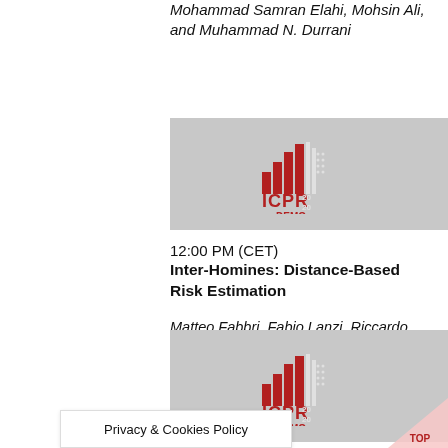Mohammad Samran Elahi, Mohsin Ali, and Muhammad N. Durrani
[Figure (logo): ICPR 2020 DEMO logo with red bar chart graphic on grey background]
12:00 PM (CET)
Inter-Homines: Distance-Based Risk Estimation
Matteo Fabbri, Fabio Lanzi, Riccardo Gasparini, Simone Calderara, Lorenzo Baraldi and Rita Cucchiara
[Figure (logo): ICPR 2020 DEMO logo with red bar chart graphic on grey background]
Privacy & Cookies Policy